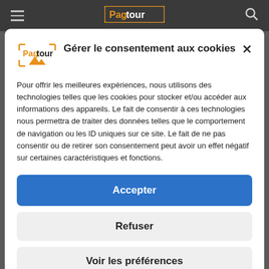[Figure (screenshot): Mobile website header with hamburger menu, Pagtour logo, and search icon on dark background]
Gérer le consentement aux cookies
Pour offrir les meilleures expériences, nous utilisons des technologies telles que les cookies pour stocker et/ou accéder aux informations des appareils. Le fait de consentir à ces technologies nous permettra de traiter des données telles que le comportement de navigation ou les ID uniques sur ce site. Le fait de ne pas consentir ou de retirer son consentement peut avoir un effet négatif sur certaines caractéristiques et fonctions.
Accepter
Refuser
Voir les préférences
Politique de cookies